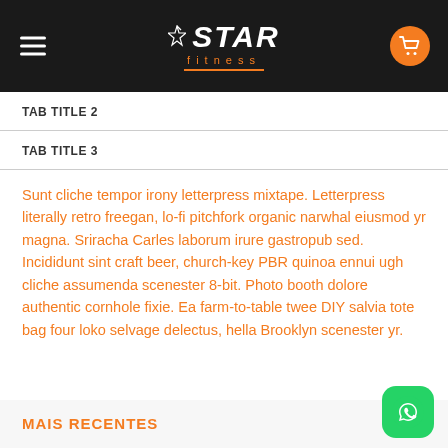STAR fitness
TAB TITLE 2
TAB TITLE 3
Sunt cliche tempor irony letterpress mixtape. Letterpress literally retro freegan, lo-fi pitchfork organic narwhal eiusmod yr magna. Sriracha Carles laborum irure gastropub sed. Incididunt sint craft beer, church-key PBR quinoa ennui ugh cliche assumenda scenester 8-bit. Photo booth dolore authentic cornhole fixie. Ea farm-to-table twee DIY salvia tote bag four loko selvage delectus, hella Brooklyn scenester yr.
MAIS RECENTES